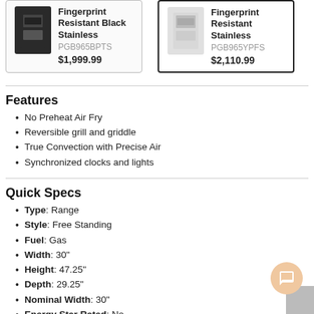[Figure (photo): Product card showing Fingerprint Resistant Black Stainless range, model PGB965BPTS, priced at $1,999.99]
[Figure (photo): Product card showing Fingerprint Resistant Stainless range, model PGB965YPFS, priced at $2,110.99]
Features
No Preheat Air Fry
Reversible grill and griddle
True Convection with Precise Air
Synchronized clocks and lights
Quick Specs
Type: Range
Style: Free Standing
Fuel: Gas
Width: 30"
Height: 47.25"
Depth: 29.25"
Nominal Width: 30"
Energy Star Rated: No
Downdraft Ventilation: No